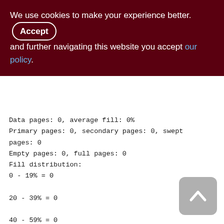We use cookies to make your experience better. By accepting and further navigating this website you accept our policy.
Data pages: 0, average fill: 0%
Primary pages: 0, secondary pages: 0, swept pages: 0
Empty pages: 0, full pages: 0
Fill distribution:
0 - 19% = 0
20 - 39% = 0
40 - 59% = 0
60 - 79% = 0
80 - 99% = 0
Index TMP_DEP_DOCS_UNQ (0)
Root page: 200, depth: 1, leaf buckets: 1,